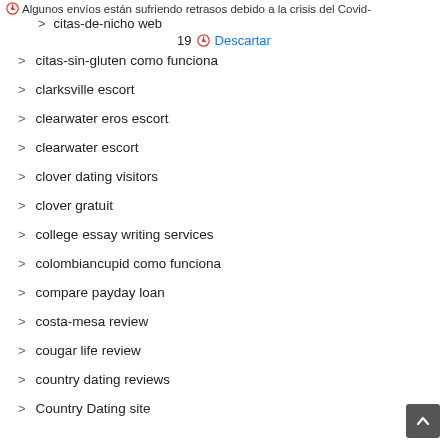Algunos envíos están sufriendo retrasos debido a la crisis del Covid-
citas-de-nicho web
19 Descartar
citas-sin-gluten como funciona
clarksville escort
clearwater eros escort
clearwater escort
clover dating visitors
clover gratuit
college essay writing services
colombiancupid como funciona
compare payday loan
costa-mesa review
cougar life review
country dating reviews
Country Dating site